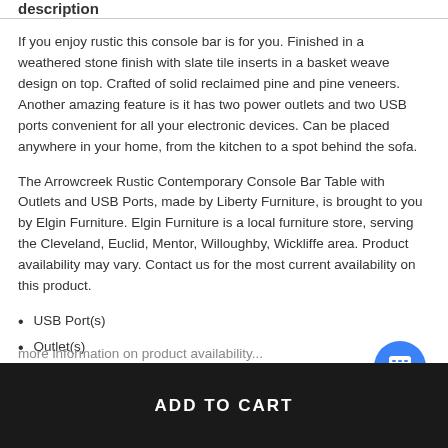description
If you enjoy rustic this console bar is for you. Finished in a weathered stone finish with slate tile inserts in a basket weave design on top. Crafted of solid reclaimed pine and pine veneers. Another amazing feature is it has two power outlets and two USB ports convenient for all your electronic devices. Can be placed anywhere in your home, from the kitchen to a spot behind the sofa.
The Arrowcreek Rustic Contemporary Console Bar Table with Outlets and USB Ports, made by Liberty Furniture, is brought to you by Elgin Furniture. Elgin Furniture is a local furniture store, serving the Cleveland, Euclid, Mentor, Willoughby, Wickliffe area. Product availability may vary. Contact us for the most current availability on this product.
USB Port(s)
Outlet(s)
ADD TO CART